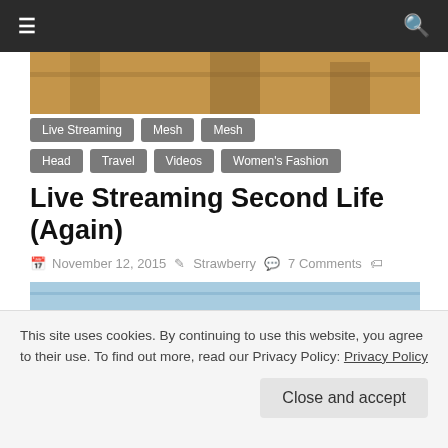≡  🔍
[Figure (photo): Partial hero image showing outdoor scene with golden/brown tones, foliage visible at top]
Live Streaming
Mesh
Mesh Head
Travel
Videos
Women's Fashion
Live Streaming Second Life (Again)
November 12, 2015  Strawberry  7 Comments
Catwa, collabor88, DeeTaleZ, Di's Opera, elikatira, Hairology, IKON, ISON, Maitreya, Maxi Gossamer, Mutresse
Today I had the chance to live stream once again, after a whole month! I continued sharing more photography tips,
This site uses cookies. By continuing to use this website, you agree to their use. To find out more, read our Privacy Policy: Privacy Policy
Close and accept